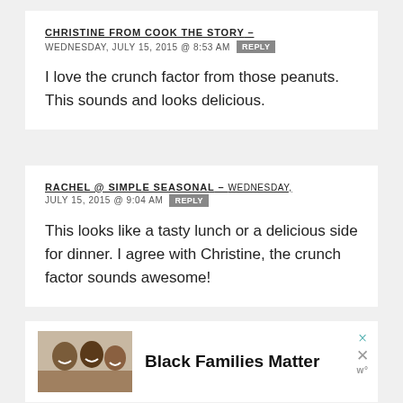CHRISTINE FROM COOK THE STORY
WEDNESDAY, JULY 15, 2015 @ 8:53 AM  REPLY
I love the crunch factor from those peanuts. This sounds and looks delicious.
RACHEL @ SIMPLE SEASONAL – WEDNESDAY, JULY 15, 2015 @ 9:04 AM  REPLY
This looks like a tasty lunch or a delicious side for dinner. I agree with Christine, the crunch factor sounds awesome!
[Figure (photo): Advertisement showing a photo of smiling family with text 'Black Families Matter']